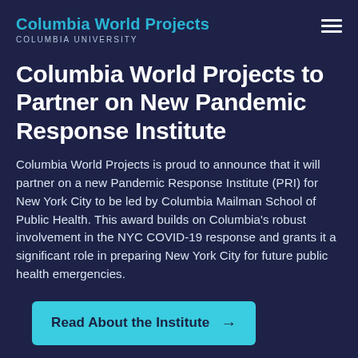Columbia World Projects
COLUMBIA UNIVERSITY
Columbia World Projects to Partner on New Pandemic Response Institute
Columbia World Projects is proud to announce that it will partner on a new Pandemic Response Institute (PRI) for New York City to be led by Columbia Mailman School of Public Health. This award builds on Columbia’s robust involvement in the NYC COVID-19 response and grants it a significant role in preparing New York City for future public health emergencies.
Read About the Institute →